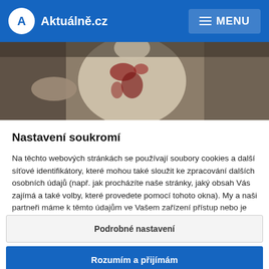Aktuálně.cz  MENU
[Figure (photo): A man with blood stains on his white shirt, surrounded by other people, in a news photo context.]
Nastavení soukromí
Na těchto webových stránkách se používají soubory cookies a další síťové identifikátory, které mohou také sloužit ke zpracování dalších osobních údajů (např. jak procházíte naše stránky, jaký obsah Vás zajímá a také volby, které provedete pomocí tohoto okna). My a naši partneři máme k těmto údajům ve Vašem zařízení přístup nebo je ukládáme. Tyto údaje nám pomáhají provozovat a zlepšovat naše služby. Můžeme Vám také
Podrobné nastavení
Rozumím a přijímám